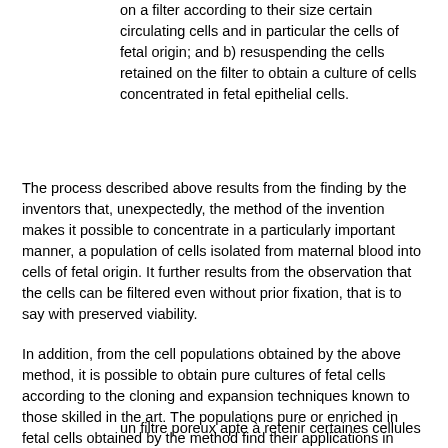on a filter according to their size certain circulating cells and in particular the cells of fetal origin; and b) resuspending the cells retained on the filter to obtain a culture of cells concentrated in fetal epithelial cells.
The process described above results from the finding by the inventors that, unexpectedly, the method of the invention makes it possible to concentrate in a particularly important manner, a population of cells isolated from maternal blood into cells of fetal origin. It further results from the observation that the cells can be filtered even without prior fixation, that is to say with preserved viability.
In addition, from the cell populations obtained by the above method, it is possible to obtain pure cultures of fetal cells according to the cloning and expansion techniques known to those skilled in the art. The populations pure or enriched in fetal cells obtained by the method find their applications in particular in the preparation of a cell therapy product comprising said fetal cells or cells derived from their differentiation.
un filtre poreux apte à retenir certaines cellules